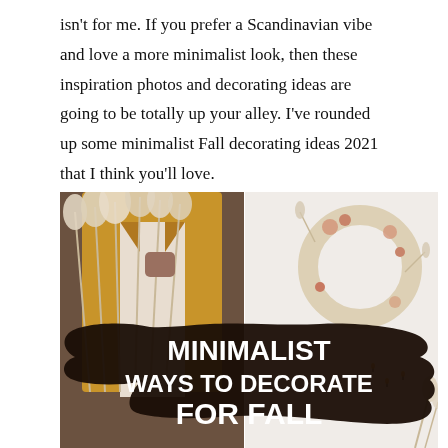isn't for me. If you prefer a Scandinavian vibe and love a more minimalist look, then these inspiration photos and decorating ideas are going to be totally up your alley. I've rounded up some minimalist Fall decorating ideas 2021 that I think you'll love.
[Figure (photo): Split photo showing a person in a camel coat holding dried white pampas grass flowers on the left, and a minimalist dried flower wreath hanging on a white wall with candles on the right. Overlaid with a dark brown brush stroke containing bold white text reading 'MINIMALIST WAYS TO DECORATE FOR FALL'.]